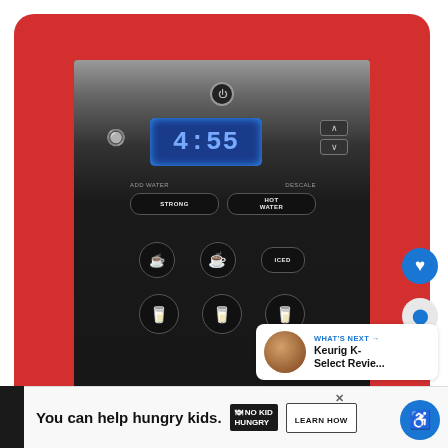[Figure (photo): Screenshot of a webpage showing a Keurig coffee maker control panel photo with red border frame, like and share UI buttons, a 'What's Next: Keurig K-Select Revie...' thumbnail, and a bottom advertisement bar reading 'You can help hungry kids. NO KID HUNGRY. LEARN HOW']
You can help hungry kids.
NO KID HUNGRY
LEARN HOW